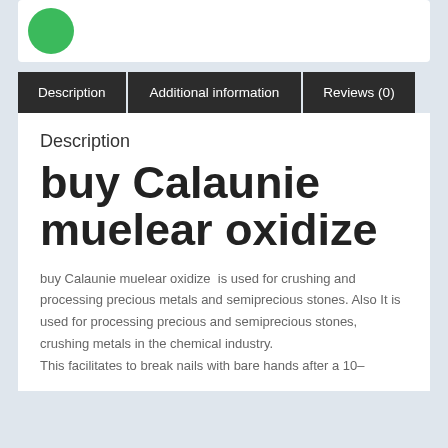[Figure (illustration): Green circle icon at top of card]
Description | Additional information | Reviews (0)
Description
buy Calaunie muelear oxidize
buy Calaunie muelear oxidize  is used for crushing and processing precious metals and semiprecious stones. Also It is used for processing precious and semiprecious stones, crushing metals in the chemical industry. This facilitates to break nails with bare hands after a 10-